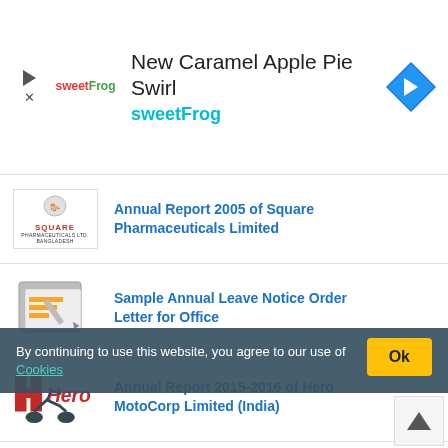[Figure (screenshot): SweetFrog advertisement banner showing logo, text 'New Caramel Apple Pie Swirl', brand name 'sweetFrog', and navigation icon]
Annual Report 2005 of Square Pharmaceuticals Limited
Sample Annual Leave Notice Order Letter for Office
Annual Report 2015-2016 of Hero MotoCorp Limited (India)
By continuing to use this website, you agree to our use of Cookies
Assignment on Infringement of Human Rights in Bangladesh